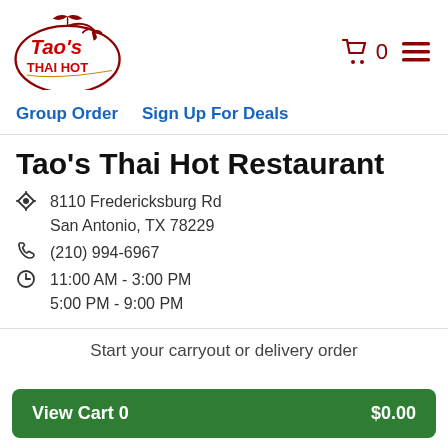[Figure (logo): Tao's Thai Hot restaurant logo with decorative Thai roof element and bird, with text 'Tao's THAI HOT' in red and gold]
Cart 0  ☰
Group Order   Sign Up For Deals
Tao's Thai Hot Restaurant
8110 Fredericksburg Rd
San Antonio, TX 78229
(210) 994-6967
11:00 AM - 3:00 PM
5:00 PM - 9:00 PM
Start your carryout or delivery order
View Cart 0   $0.00